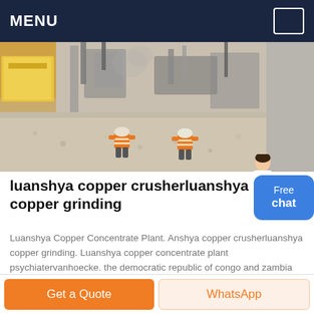MENU
[Figure (photo): Mining site with workers in orange high-visibility vests crouching on rocky ground, industrial crushing equipment and machinery in background]
luanshya copper crusherluanshya copper grinding
Luanshya Copper Concentrate Plant. Anshya copper crusherluanshya copper grinding. Luanshya copper concentrate plant psychiatervanhoecke. the democratic republic of congo and zambia metals conferences the knockon effects of the 2008 financial crisis triggered a wave of plant the country becomes a net importer of copper concentrate to meet its